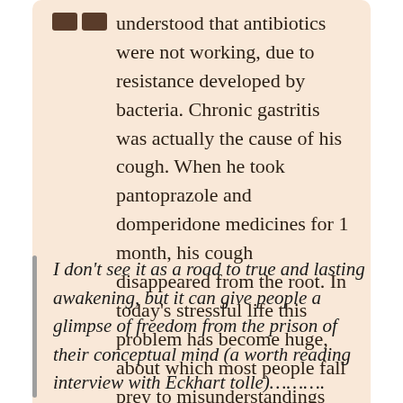understood that antibiotics were not working, due to resistance developed by bacteria. Chronic gastritis was actually the cause of his cough. When he took pantoprazole and domperidone medicines for 1 month, his cough disappeared from the root. In today's stressful life this problem has become huge, about which most people fall prey to misunderstandings
I don't see it as a road to true and lasting awakening, but it can give people a glimpse of freedom from the prison of their conceptual mind (a worth reading interview with Eckhart tolle)...........